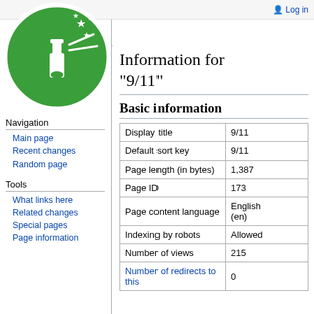[Figure (logo): Wikimedia-style wiki logo: green circle with white chemistry flask and stars icon]
Log in
Page  Discussion  ew history  Search
Information for "9/11"
Basic information
|  |  |
| --- | --- |
| Display title | 9/11 |
| Default sort key | 9/11 |
| Page length (in bytes) | 1,387 |
| Page ID | 173 |
| Page content language | English (en) |
| Indexing by robots | Allowed |
| Number of views | 215 |
| Number of redirects to this | 0 |
Main page
Recent changes
Random page
What links here
Related changes
Special pages
Page information